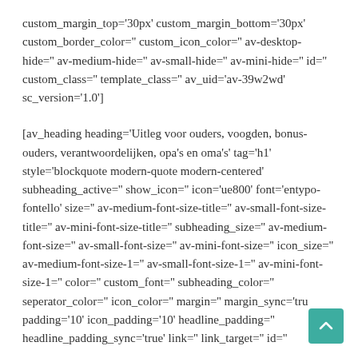custom_margin_top='30px' custom_margin_bottom='30px' custom_border_color='' custom_icon_color='' av-desktop-hide='' av-medium-hide='' av-small-hide='' av-mini-hide='' id='' custom_class='' template_class='' av_uid='av-39w2wd' sc_version='1.0']
[av_heading heading='Uitleg voor ouders, voogden, bonus-ouders, verantwoordelijken, opa's en oma's' tag='h1' style='blockquote modern-quote modern-centered' subheading_active='' show_icon='' icon='ue800' font='entypo-fontello' size='' av-medium-font-size-title='' av-small-font-size-title='' av-mini-font-size-title='' subheading_size='' av-medium-font-size='' av-small-font-size='' av-mini-font-size='' icon_size='' av-medium-font-size-1='' av-small-font-size-1='' av-mini-font-size-1='' color='' custom_font='' subheading_color='' seperator_color='' icon_color='' margin='' margin_sync='true' padding='10' icon_padding='10' headline_padding='' headline_padding_sync='true' link='' link_target='' id=''